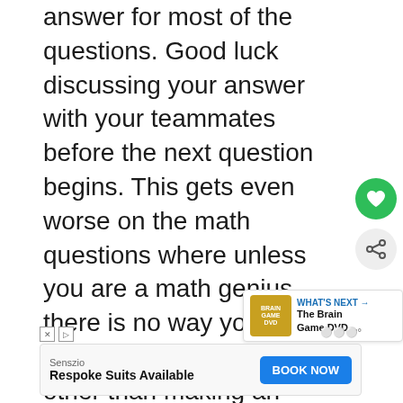answer for most of the questions. Good luck discussing your answer with your teammates before the next question begins. This gets even worse on the math questions where unless you are a math genius there is no way you can figure them out in time other than making an educated guess since you can't use a calculator. Yes you did read that right, there are math questions in this game. The worst thing is that the intros for each quest seem to be almost as long as the am time you get for the actual question.
[Figure (screenshot): UI overlay with heart (like) button in green circle and share button, plus a 'WHAT'S NEXT' panel showing The Brain Game DVD thumbnail]
[Figure (screenshot): Advertisement bar for Senszio - Respoke Suits Available with BOOK NOW button]